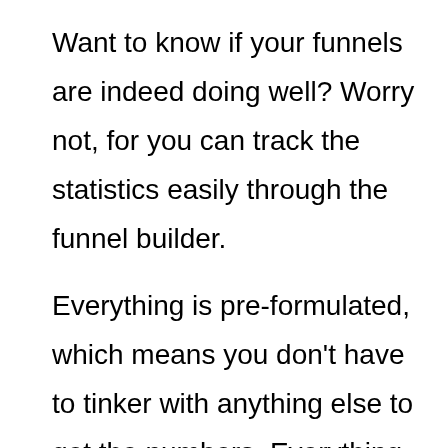Want to know if your funnels are indeed doing well? Worry not, for you can track the statistics easily through the funnel builder.
Everything is pre-formulated, which means you don't have to tinker with anything else to get the numbers. Everything will be reported on the dashboard.